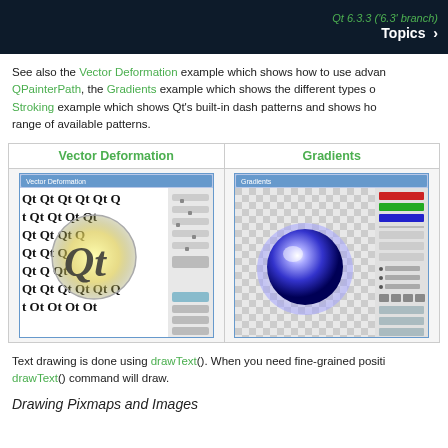Qt 6.3.3 ('6.3' branch) Topics >
See also the Vector Deformation example which shows how to use advanced features of QPainterPath, the Gradients example which shows the different types of gradient, and the Stroking example which shows Qt's built-in dash patterns and shows how you can use a custom dash pattern to extend the range of available patterns.
[Figure (screenshot): Table with two screenshots side by side labeled 'Vector Deformation' and 'Gradients'. Left shows Qt text repeated with a magnifying glass effect. Right shows a blue sphere with gradient on a checkered background with controls.]
Text drawing is done using drawText(). When you need fine-grained positioning, the drawText() command will draw.
Drawing Pixmaps and Images